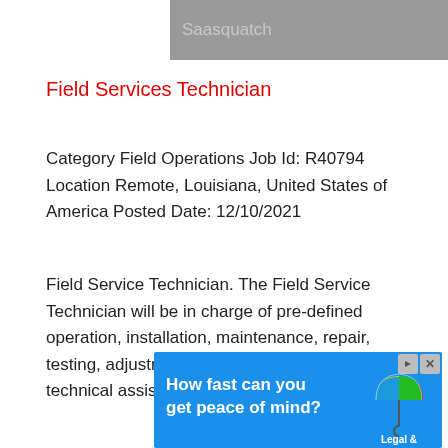[Figure (screenshot): Partially visible grey banner with faded text 'Saasquatch' at top of page]
Field Services Technician
Category Field Operations Job Id: R40794 Location Remote, Louisiana, United States of America Posted Date: 12/10/2021
Field Service Technician. The Field Service Technician will be in charge of pre-defined operation, installation, maintenance, repair, testing, adjustment, troubleshooting, and technical assistance based...
[Figure (illustration): Blue advertisement banner for Legal & General with text 'How fast can you get peace of mind?' and colorful umbrella logo]